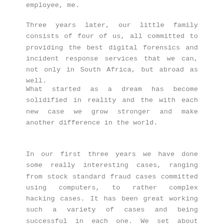employee, me.
Three years later, our little family consists of four of us, all committed to providing the best digital forensics and incident response services that we can, not only in South Africa, but abroad as well.
What started as a dream has become solidified in reality and the with each new case we grow stronger and make another difference in the world.
In our first three years we have done some really interesting cases, ranging from stock standard fraud cases committed using computers, to rather complex hacking cases. It has been great working such a variety of cases and being successful in each one. We set about being different and holding ourselves to the